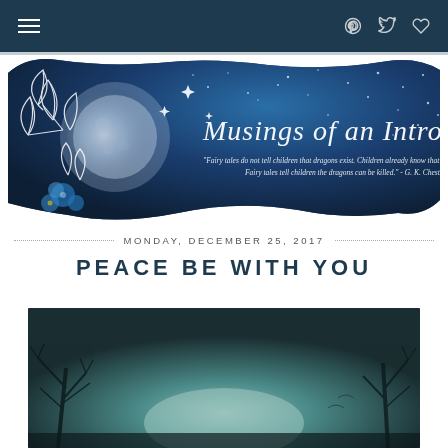Navigation bar with hamburger menu and social icons (Pinterest, Twitter, Heart/Bloglovin)
[Figure (illustration): Blog banner image for 'Musings of an Introvert' — dark blue starry night sky background with a large moon, white floral line art, blue flowers, and cursive script text reading 'Musings of an Introvert' with a quote: "Fairy tales do not tell children that dragons exist. Children already know that dragons exist. Fairy tales tell children the dragons can be killed." - G. K. Chesterton]
MONDAY, DECEMBER 25, 2017
PEACE BE WITH YOU
[Figure (photo): Dark atmospheric photo of bare tree branches against a moody teal/grey sky with a glowing light source near the horizon]